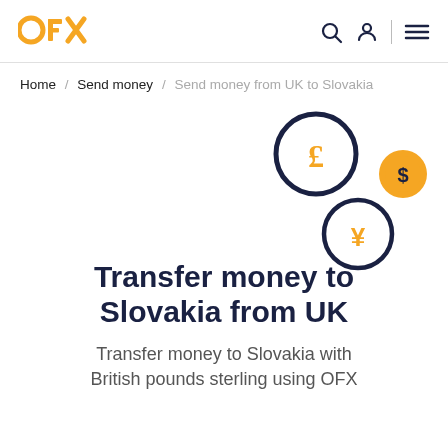OFX
Home / Send money / Send money from UK to Slovakia
[Figure (illustration): Three currency coin icons: a large dark-outlined coin with pound sterling symbol (£), a smaller orange coin with dollar symbol ($), and a medium dark-outlined coin with yen symbol (¥), arranged decoratively.]
Transfer money to Slovakia from UK
Transfer money to Slovakia with British pounds sterling using OFX